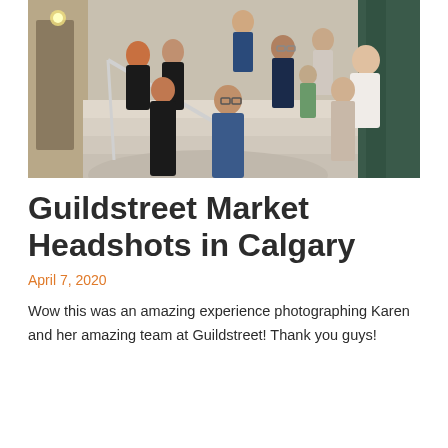[Figure (photo): Group photo of approximately 10 people sitting on marble stairs in a building lobby, casually posed, indoor setting with architectural details visible]
Guildstreet Market Headshots in Calgary
April 7, 2020
Wow this was an amazing experience photographing Karen and her amazing team at Guildstreet! Thank you guys!